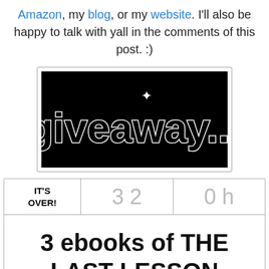Amazon, my blog, or my website. I'll also be happy to talk with yall in the comments of this post. :)
[Figure (illustration): Black banner image with 'giveaway...' text in white outlined bold font with a star above the letter 'i']
| IT'S OVER! | 3 2 | 0 h |
| 3 ebooks of THE LAST LESSON |  |  |